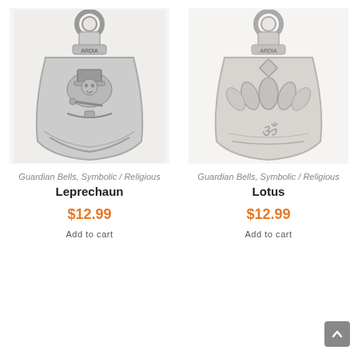[Figure (photo): Silver Guardian Bell with Leprechaun design engraved on the front, bell-shaped with hanging loop at top]
Guardian Bells, Symbolic / Religious
Leprechaun
$12.99
Add to cart
[Figure (photo): Silver Guardian Bell with Lotus design engraved on the front, bell-shaped with hanging loop at top]
Guardian Bells, Symbolic / Religious
Lotus
$12.99
Add to cart